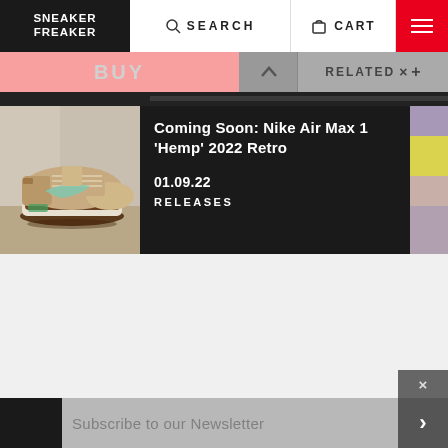SNEAKER FREAKER
SEARCH
CART
BUY
RELATED
Coming Soon: Nike Air Max 1 'Hemp' 2022 Retro
01.09.22
RELEASES
Subscribe to our Newsletter